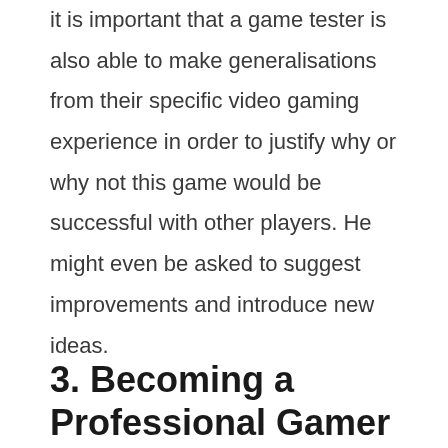it is important that a game tester is also able to make generalisations from their specific video gaming experience in order to justify why or why not this game would be successful with other players. He might even be asked to suggest improvements and introduce new ideas.
3. Becoming a Professional Gamer